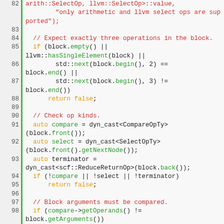[Figure (screenshot): Source code listing in a monospace editor, lines 82-104, showing C++/MLIR code with syntax highlighting. Green line numbers on left with green vertical bar. Keywords in orange, comments in red, method calls in teal/green.]